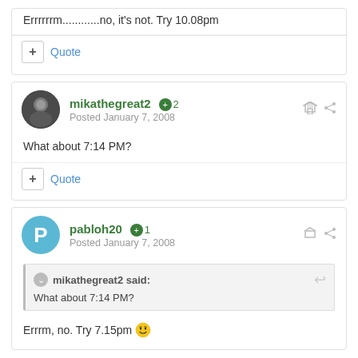Errrrrrm............no, it's not. Try 10.08pm
+ Quote
mikathegreat2 +2 Posted January 7, 2008
What about 7:14 PM?
+ Quote
pabloh20 +1 Posted January 7, 2008
mikathegreat2 said: What about 7:14 PM?
Errrm, no. Try 7.15pm 😁